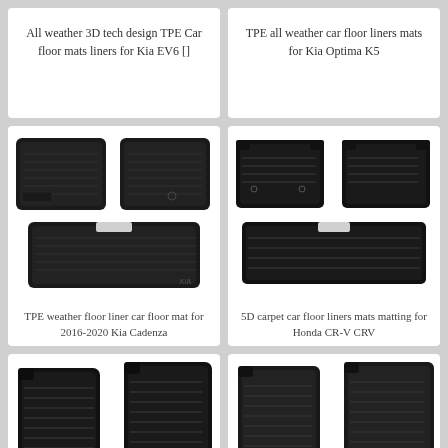All weather 3D tech design TPE Car floor mats liners for Kia EV6 []
TPE all weather car floor liners mats for Kia Optima K5
[Figure (photo): Black TPE car floor mats set for Kia Cadenza 2016-2020, showing front and rear mats]
TPE weather floor liner car floor mat for 2016-2020 Kia Cadenza
[Figure (photo): Black 5D carpet car floor liners set for Honda CR-V CRV, showing front and rear mats]
5D carpet car floor liners mats matting for Honda CR-V CRV
[Figure (photo): Partial view of black car floor mats, bottom-left product card]
[Figure (photo): Partial view of black car floor mats, bottom-right product card]